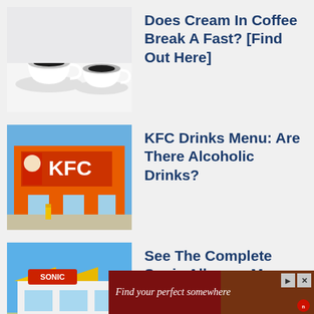[Figure (photo): Two white coffee cups on a white surface, one with black coffee, one with a saucer]
Does Cream In Coffee Break A Fast? [Find Out Here]
[Figure (photo): KFC restaurant exterior with red and white KFC sign and Colonel Sanders logo]
KFC Drinks Menu: Are There Alcoholic Drinks?
[Figure (photo): Sonic Drive-In restaurant exterior with yellow canopy and blue sky]
See The Complete Sonic Allergen Menu
[Figure (photo): Close-up of golden/yellow chips or crackers]
Expired Chips – How Long Are They Good For?
[Figure (photo): Advertisement banner: Find your perfect somewhere, with dark red background and food/travel imagery]